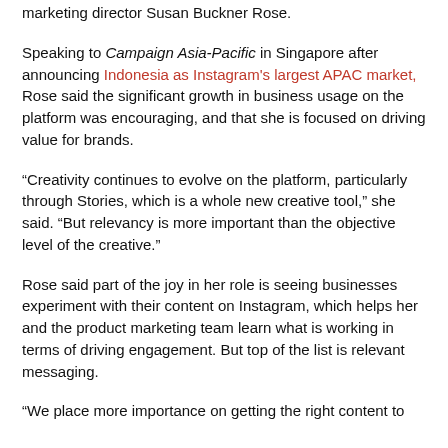marketing director Susan Buckner Rose.
Speaking to Campaign Asia-Pacific in Singapore after announcing Indonesia as Instagram's largest APAC market, Rose said the significant growth in business usage on the platform was encouraging, and that she is focused on driving value for brands.
“Creativity continues to evolve on the platform, particularly through Stories, which is a whole new creative tool,” she said. “But relevancy is more important than the objective level of the creative.”
Rose said part of the joy in her role is seeing businesses experiment with their content on Instagram, which helps her and the product marketing team learn what is working in terms of driving engagement. But top of the list is relevant messaging.
“We place more importance on getting the right content to